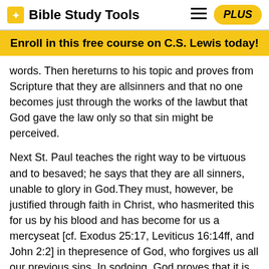Bible Study Tools
Enroll in this free course on C.S. Lewis today!
words. Then hereturns to his topic and proves from Scripture that they are allsinners and that no one becomes just through the works of the lawbut that God gave the law only so that sin might be perceived.
Next St. Paul teaches the right way to be virtuous and to besaved; he says that they are all sinners, unable to glory in God.They must, however, be justified through faith in Christ, who hasmerited this for us by his blood and has become for us a mercyseat [cf. Exodus 25:17, Leviticus 16:14ff, and John 2:2] in thepresence of God, who forgives us all our previous sins. In sodoing, God proves that it is his justice alone, which he givesthrough faith, that helps us, the justice which was at theappointed time revealed through the Gospel and.